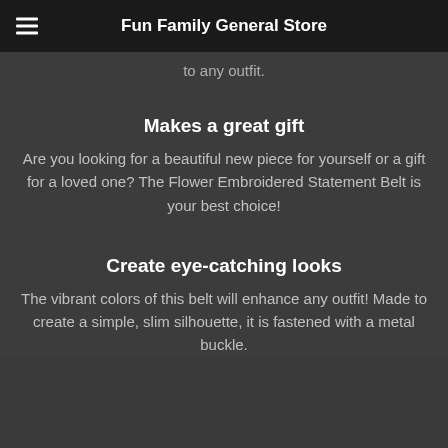Fun Family General Store
to any outfit.
Makes a great gift
Are you looking for a beautiful new piece for yourself or a gift for a loved one? The Flower Embroidered Statement Belt is your best choice!
Create eye-catching looks
The vibrant colors of this belt will enhance any outfit! Made to create a simple, slim silhouette, it is fastened with a metal buckle.